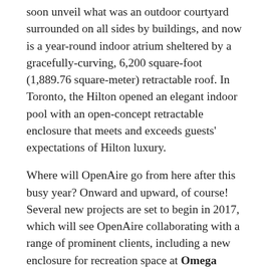soon unveil what was an outdoor courtyard surrounded on all sides by buildings, and now is a year-round indoor atrium sheltered by a gracefully-curving, 6,200 square-foot (1,889.76 square-meter) retractable roof. In Toronto, the Hilton opened an elegant indoor pool with an open-concept retractable enclosure that meets and exceeds guests' expectations of Hilton luxury.
Where will OpenAire go from here after this busy year? Onward and upward, of course! Several new projects are set to begin in 2017, which will see OpenAire collaborating with a range of prominent clients, including a new enclosure for recreation space at Omega Palisades; stacking glass roof designs for River Point Tower restaurant in Chicago